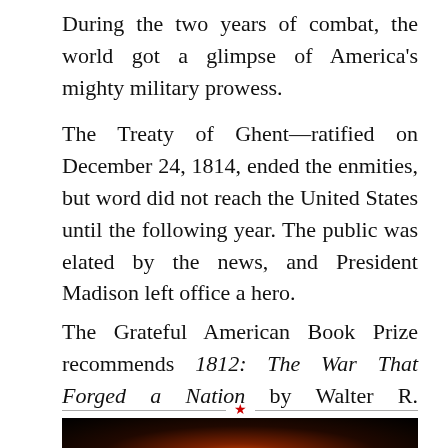During the two years of combat, the world got a glimpse of America's mighty military prowess.
The Treaty of Ghent—ratified on December 24, 1814, ended the enmities, but word did not reach the United States until the following year. The public was elated by the news, and President Madison left office a hero.
The Grateful American Book Prize recommends 1812: The War That Forged a Nation by Walter R. Borneman.
[Figure (photo): Dark photograph showing a dim orange/red glow of light against a very dark background, appearing to be a fire or light source at night.]